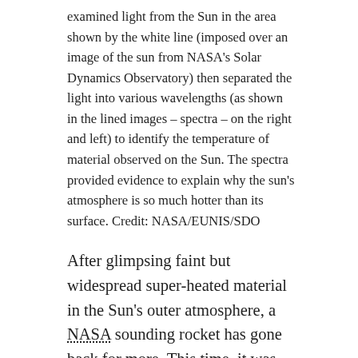examined light from the Sun in the area shown by the white line (imposed over an image of the sun from NASA's Solar Dynamics Observatory) then separated the light into various wavelengths (as shown in the lined images – spectra – on the right and left) to identify the temperature of material observed on the Sun. The spectra provided evidence to explain why the sun's atmosphere is so much hotter than its surface. Credit: NASA/EUNIS/SDO
After glimpsing faint but widespread super-heated material in the Sun's outer atmosphere, a NASA sounding rocket has gone back for more. This time, it was carrying a new instrument optimized to see it across a wider region of the Sun.
The mission, known as Extreme Ultraviolet